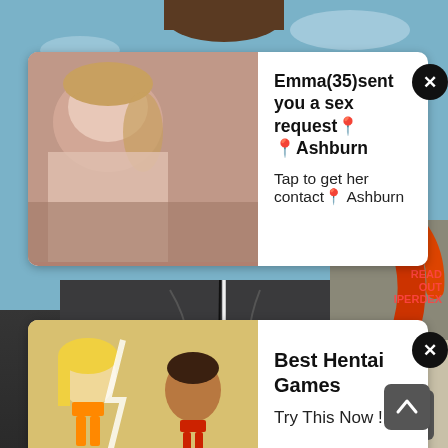[Figure (screenshot): Anime/manga style screenshot background showing characters, overlaid with two advertisement popup cards and a scroll button]
Emma(35)sent you a sex request📍Ashburn
Tap to get her contact📍 Ashburn
Best Hentai Games
Try This Now !!!